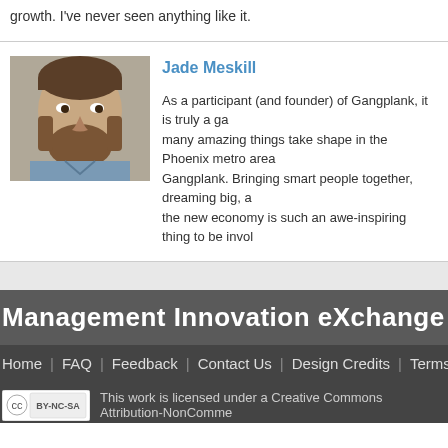growth. I've never seen anything like it.
Jade Meskill
As a participant (and founder) of Gangplank, it is truly a game to see many amazing things take shape in the Phoenix metro area through Gangplank. Bringing smart people together, dreaming big, and building the new economy is such an awe-inspiring thing to be involved with.
[Figure (photo): Profile photo of Jade Meskill - a man with a beard]
Management Innovation eXchange
Home | FAQ | Feedback | Contact Us | Design Credits | Terms of
This work is licensed under a Creative Commons Attribution-NonCommercial